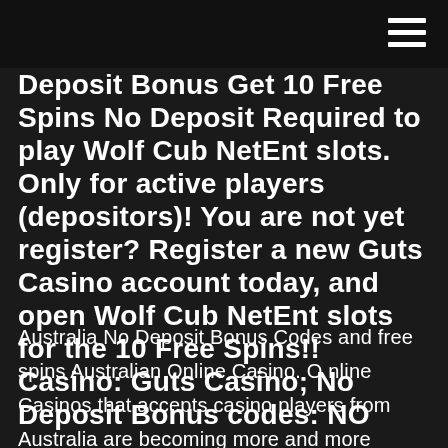Deposit Bonus Get 10 Free Spins No Deposit Required to play Wolf Cub NetEnt slots. Only for active players (depositors)! You are not yet register? Register a new Guts Casino account today, and open Wolf Cub NetEnt slots for the 10 Free Spins!! Casino: Guts Casino; No Deposit Bonus codes: NO
Australia No Deposit Bonus Codes and free spins Australian Online Casino. O nline Casinos that accepts casino players from Australia are becoming more and more popular for their graphics, efficient banking and promos. For every gambler who lives in Australia and seeking for trusted casinos, we have made a selection of ALL the best